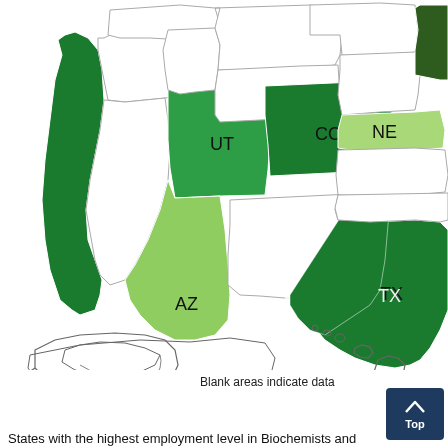[Figure (map): Choropleth map of the western and south-central United States showing employment level of Biochemists and Biophysicists by state. States shown include CA, UT, AZ, CO, NE, TX and others. Darker green indicates higher employment. Alaska and Hawaii shown as insets. Blank (white) areas indicate data not available.]
Blank areas indicate data
States with the highest employment level in Biochemists and